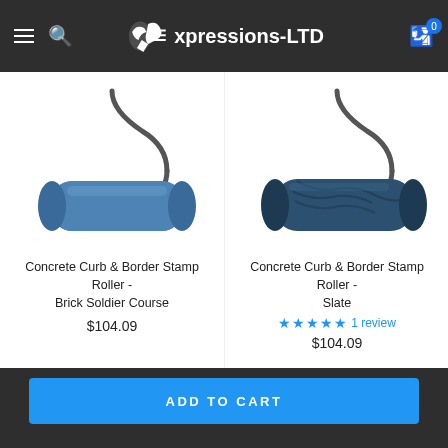Expressions-LTD
[Figure (photo): Blue concrete curb and border stamp roller - Brick Soldier Course, with metal wire handle]
Concrete Curb & Border Stamp Roller - Brick Soldier Course
$104.09
[Figure (photo): Blue concrete curb and border stamp roller - Slate pattern, with metal wire handle]
Concrete Curb & Border Stamp Roller - Slate
1 review
$104.09
ADD TO CART